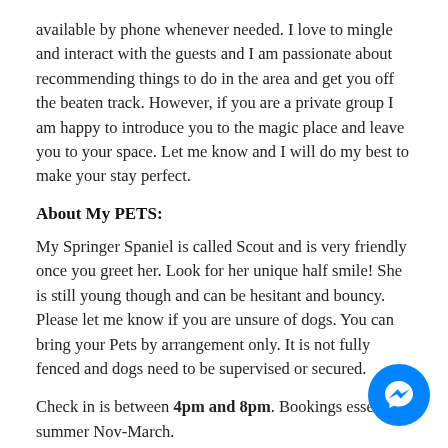available by phone whenever needed. I love to mingle and interact with the guests and I am passionate about recommending things to do in the area and get you off the beaten track. However, if you are a private group I am happy to introduce you to the magic place and leave you to your space. Let me know and I will do my best to make your stay perfect.
About My PETS:
My Springer Spaniel is called Scout and is very friendly once you greet her. Look for her unique half smile! She is still young though and can be hesitant and bouncy. Please let me know if you are unsure of dogs. You can bring your Pets by arrangement only. It is not fully fenced and dogs need to be supervised or secured.
Check in is between 4pm and 8pm. Bookings esse summer Nov-March.